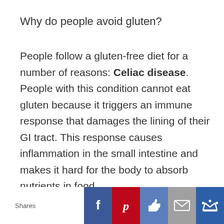Why do people avoid gluten?
People follow a gluten-free diet for a number of reasons: Celiac disease. People with this condition cannot eat gluten because it triggers an immune response that damages the lining of their GI tract. This response causes inflammation in the small intestine and makes it hard for the body to absorb nutrients in food.
[Figure (infographic): Social sharing bar with icons for Facebook, Pinterest, Like, Email, and a crown/bookmark button. Labels: Shares]